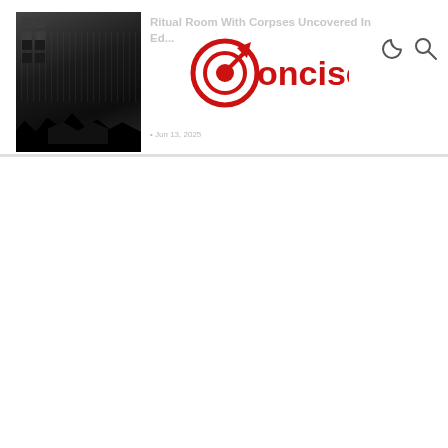[Figure (screenshot): Website screenshot of 'Concise' news site showing navigation bar with logo, menu icon, dark mode and search icons, and a thumbnail image of a dark architectural/crowd scene. Article title 'Ritual Room With Corpses Uncovered In Ed...' is partially visible next to the thumbnail.]
Ritual Room With Corpses Uncovered In Ed...
Concise logo with target/bullseye icon in red